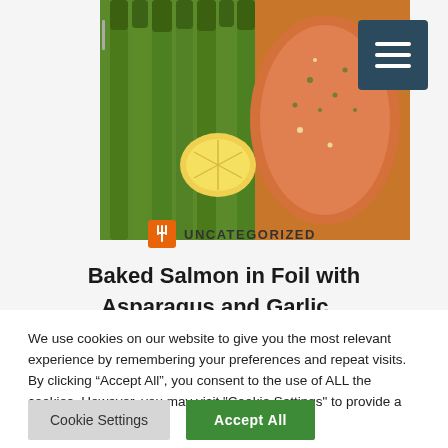[Figure (photo): Baked salmon fillet in foil with asparagus spears and a lemon wedge, viewed from above, with garnish of herbs and garlic.]
UNCATEGORIZED
Baked Salmon in Foil with Asparagus and Garlic...
We use cookies on our website to give you the most relevant experience by remembering your preferences and repeat visits. By clicking “Accept All”, you consent to the use of ALL the cookies. However, you may visit "Cookie Settings" to provide a controlled consent.
Cookie Settings
Accept All